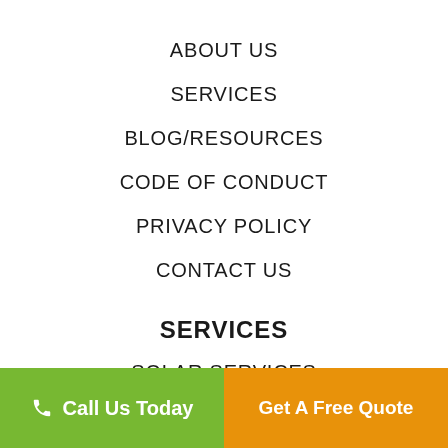ABOUT US
SERVICES
BLOG/RESOURCES
CODE OF CONDUCT
PRIVACY POLICY
CONTACT US
SERVICES
SOLAR SERVICES
AIR CON SERVICES
Call Us Today
Get A Free Quote